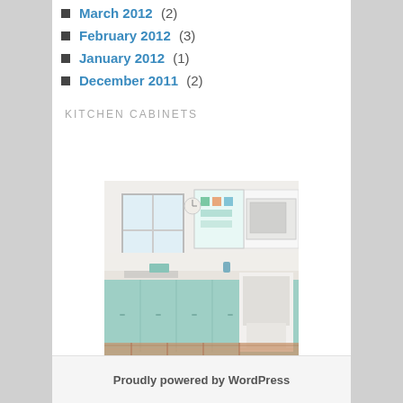March 2012 (2)
February 2012 (3)
January 2012 (1)
December 2011 (2)
KITCHEN CABINETS
[Figure (photo): Kitchen with teal/mint lower cabinets and white upper cabinets, colorful rug on floor, stove visible]
Proudly powered by WordPress